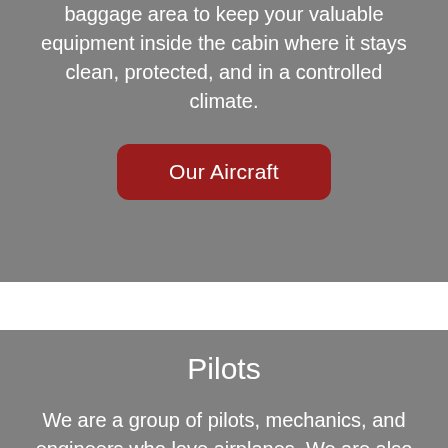baggage area to keep your valuable equipment inside the cabin where it stays clean, protected, and in a controlled climate.
[Figure (other): Red rounded rectangle button labeled 'Our Aircraft']
Pilots
We are a group of pilots, mechanics, and engineers who love airplanes. We are also deeply rooted in agriculture, and have experience farming. Simply stated,